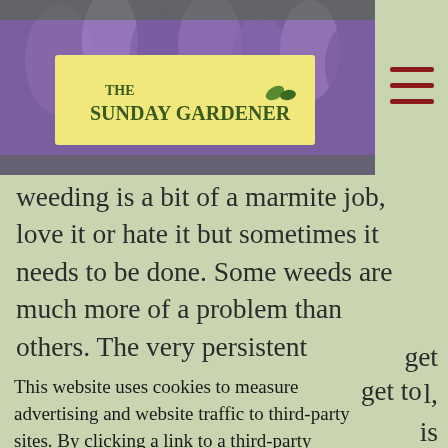[Figure (photo): The Sunday Gardener website header banner with purple lavender flowers background and yellow logo reading 'THE SUNDAY GARDENER' with a leaf icon. Tagline text partially visible: 'An independent, impartial, offering ideas to help gardeners, advice and tips']
Weeding is a bit of a marmite job, love it or hate it but sometimes it needs to be done. Some weeds are much more of a problem than others. The very persistent perennial weeds, if they get
get
l,
is
to
d as
and
his
This website uses cookies to measure advertising and website traffic to third-party sites. By clicking a link to a third-party website, you agree to this use.  Learn more
Got it!
type of weed you really need to get to it as soon